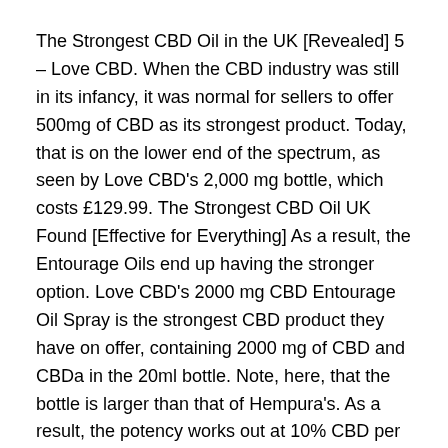The Strongest CBD Oil in the UK [Revealed] 5 – Love CBD. When the CBD industry was still in its infancy, it was normal for sellers to offer 500mg of CBD as its strongest product. Today, that is on the lower end of the spectrum, as seen by Love CBD's 2,000 mg bottle, which costs £129.99. The Strongest CBD Oil UK Found [Effective for Everything] As a result, the Entourage Oils end up having the stronger option. Love CBD's 2000 mg CBD Entourage Oil Spray is the strongest CBD product they have on offer, containing 2000 mg of CBD and CBDa in the 20ml bottle. Note, here, that the bottle is larger than that of Hempura's. As a result, the potency works out at 10% CBD per bottle – the
hilft cbd auch
سان ديبغو cbd أفضل متجر
القانونية في ولاية تينيسي cbd 2020 هو النفط
الشركات العامة للنفط القنب